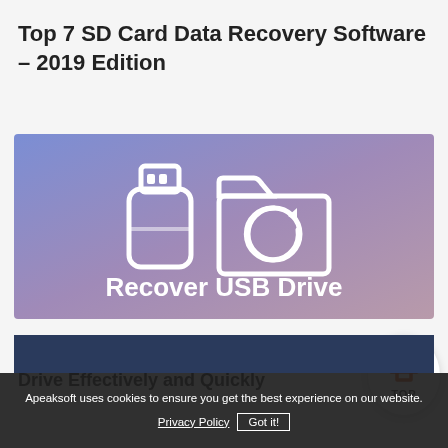Top 7 SD Card Data Recovery Software – 2019 Edition
[Figure (illustration): Banner image with purple-blue gradient background showing white icons of a USB flash drive and a folder with a refresh/recovery arrow symbol, with bold white text 'Recover USB Drive']
Tutorial to Recover Data from USB Drive Effectively and Quickly
Apeaksoft uses cookies to ensure you get the best experience on our website.
Privacy Policy  Got it!